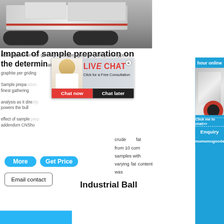[Figure (photo): Mobile crushing machine / industrial rock crusher on tracks in a quarry setting]
Impact of sample preparation on the determination of...
reducing particle size grinding used types graphite griding graphite per griding
Sample preparation finest gathering
analysis as it directly powers the bull
effect of sample addendum CNSho
[Figure (screenshot): Live Chat popup overlay with woman in white shirt, workers in hard hats in background, Chat now and Chat later buttons]
crude fat
from 10 corn
samples with
varying fat content was
Industrial Ball
hour online
Click me to chat>>
Enquiry
mumumugoods
[Figure (photo): Industrial jaw crusher machine thumbnail image on blue sidebar]